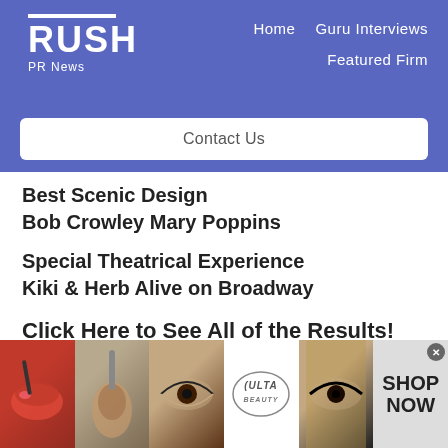RUSH PR News — Home | Guru Interviews | Featured Firm | Contact Us
Best Scenic Design
Bob Crowley Mary Poppins
Special Theatrical Experience
Kiki & Herb Alive on Broadway
Click Here to See All of the Results!
[Figure (illustration): Advertisement banner for Ulta Beauty featuring makeup images (lips, brush, eyes), Ulta logo, additional eye image, and SHOP NOW call-to-action with close button]